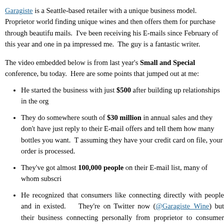Garagiste is a Seattle-based retailer with a unique business model. Proprietor world finding unique wines and then offers them for purchase through beautifu mails. I've been receiving his E-mails since February of this year and one in pa impressed me. The guy is a fantastic writer.
The video embedded below is from last year's Small and Special conference, bu today. Here are some points that jumped out at me:
He started the business with just $500 after building up relationships in the org
They do somewhere south of $30 million in annual sales and they don't have just reply to their E-mail offers and tell them how many bottles you want. T assuming they have your credit card on file, your order is processed.
They've got almost 100,000 people on their E-mail list, many of whom subscri
He recognized that consumers like connecting directly with people and in existed. They're on Twitter now (@Garagiste_Wine) but their business connecting personally from proprietor to consumer through Jon's E-mails.
Unfortunately, they can't ship to Massachusetts.
At minimum, your call to action today is to sign up for their E-mail list. And time, watch the video. I think you'll enjoy getting to know Jon a little better and